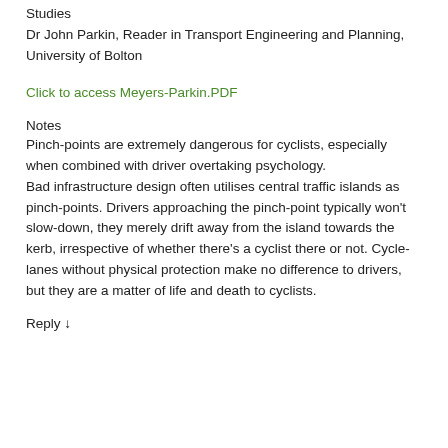Studies
Dr John Parkin, Reader in Transport Engineering and Planning, University of Bolton
Click to access Meyers-Parkin.PDF
Notes
Pinch-points are extremely dangerous for cyclists, especially when combined with driver overtaking psychology. Bad infrastructure design often utilises central traffic islands as pinch-points. Drivers approaching the pinch-point typically won't slow-down, they merely drift away from the island towards the kerb, irrespective of whether there's a cyclist there or not. Cycle-lanes without physical protection make no difference to drivers, but they are a matter of life and death to cyclists.
Reply ↓